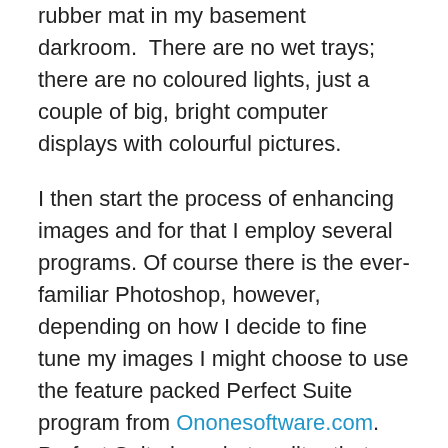rubber mat in my basement darkroom.  There are no wet trays; there are no coloured lights, just a couple of big, bright computer displays with colourful pictures.
I then start the process of enhancing images and for that I employ several programs. Of course there is the ever-familiar Photoshop, however, depending on how I decide to fine tune my images I might choose to use the feature packed Perfect Suite program from Ononesoftware.com. Perfect Suite is a photo editor that works as either a standalone application, or plug-in editor, to Adobe Photoshop that includes some pretty exciting tools.
For years photographers have used graduated filters to cope with the contrasts of bright sky, and low light foregrounds with deep shadows, or bright highlights, when photographing landscapes. Although I don't recommend